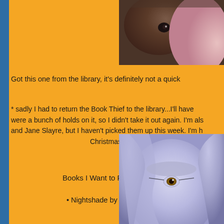[Figure (photo): Close-up photo of what appears to be an animal (dark fur) and a pink/skin-toned object, partially visible at top right corner]
Got this one from the library, it's definitely not a quick
* sadly I had to return the Book Thief to the library...I'll have were a bunch of holds on it, so I didn't take it out again. I'm als and Jane Slayre, but I haven't picked them up this week. I'm h Christmas :P
Books I Want to Read This Week
• Nightshade by Andrea Cremer
[Figure (photo): Close-up portrait of a blonde/light-haired person with striking golden-hazel eyes, with a purple/blue tinted color cast]